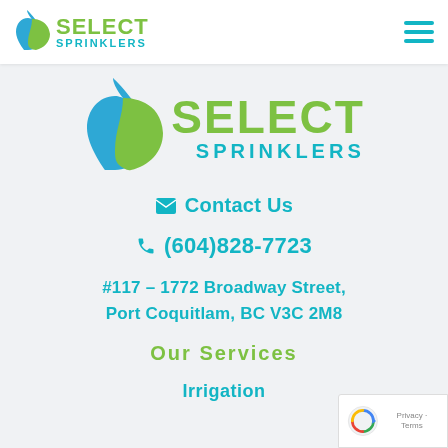SELECT SPRINKLERS
[Figure (logo): Select Sprinklers logo - large centered version with blue water drop and green leaf, SELECT in large green bold text, SPRINKLERS in cyan spaced text]
✉ Contact Us
📞 (604)828-7723
#117 – 1772 Broadway Street, Port Coquitlam, BC V3C 2M8
Our Services
Irrigation